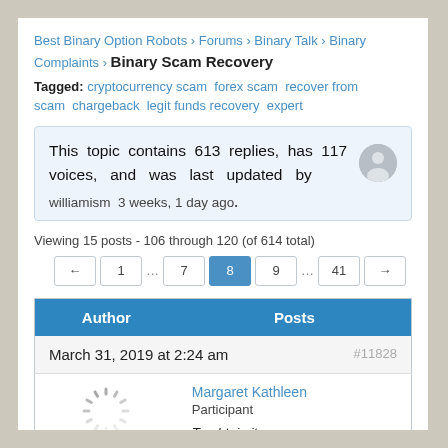Best Binary Option Robots › Forums › Binary Talk › Binary Complaints › Binary Scam Recovery
Tagged: cryptocurrency scam forex scam recover from scam chargeback legit funds recovery expert
This topic contains 613 replies, has 117 voices, and was last updated by williamism 3 weeks, 1 day ago.
Viewing 15 posts - 106 through 120 (of 614 total)
← 1 … 7 8 9 … 41 →
| Author | Posts |
| --- | --- |
| March 31, 2019 at 2:24 am | #11828 |
| Margaret Kathleen
Participant |  |